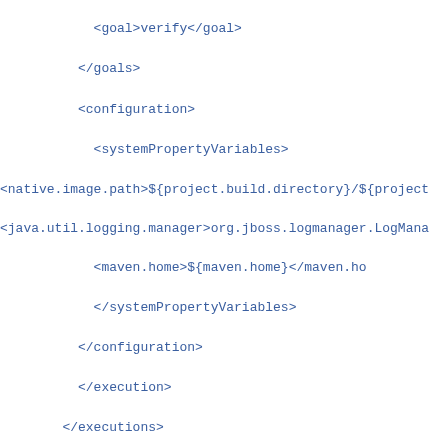XML/Maven configuration code snippet showing: <goal>verify</goal>, </goals>, <configuration>, <systemPropertyVariables>, <native.image.path>${project.build.directory}/${project...}, <java.util.logging.manager>org.jboss.logmanager.LogMana..., <maven.home>${maven.home}</maven.ho..., </systemPropertyVariables>, </configuration>, </execution>, </executions>, </plugin>, </plugins>, </build>, <properties>, <quarkus.package.type>native</quarkus.package.t..., </properties>, </profile>, </profiles...